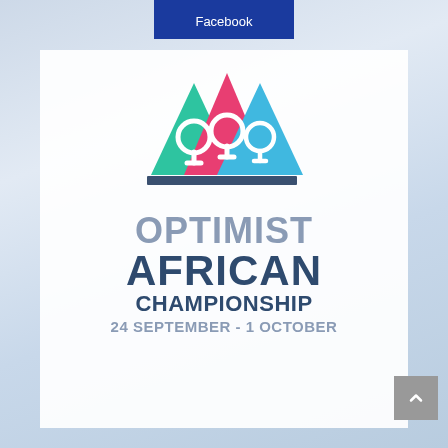[Figure (logo): Facebook button - dark blue/navy rectangle with text 'Facebook']
[Figure (logo): Optimist African Championship logo with three sail boat icons (green, pink/red, blue) and text 'OPTIMIST AFRICAN CHAMPIONSHIP 24 SEPTEMBER - 1 OCTOBER']
24 SEPTEMBER - 1 OCTOBER